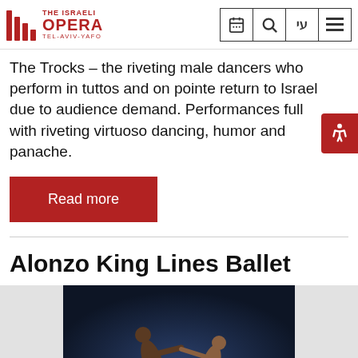The Israeli Opera Tel-Aviv-Yafo
The Trocks – the riveting male dancers who perform in tuttos and on pointe return to Israel due to audience demand. Performances full with riveting virtuoso dancing, humor and panache.
Read more
Alonzo King Lines Ballet
[Figure (photo): Two male ballet dancers performing on a dark blue background, one reaching towards the other in a dramatic pose]